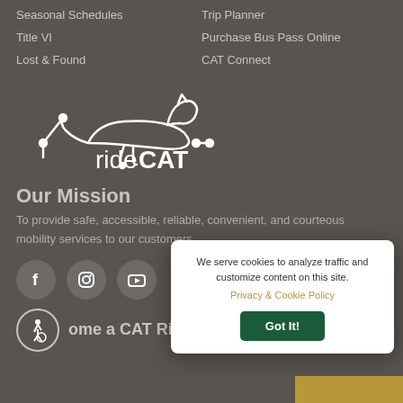Seasonal Schedules
Trip Planner
Title VI
Purchase Bus Pass Online
Lost & Found
CAT Connect
[Figure (logo): ridCAT logo: outline of a running cat above stylized text 'rideCAT' with circuit-like connector lines]
Our Mission
To provide safe, accessible, reliable, convenient, and courteous mobility services to our customers.
[Figure (infographic): Social media icons: Facebook, Instagram, YouTube in dark gray circles]
[Figure (infographic): Accessibility icon in circle next to text 'Become a CAT Rider']
We serve cookies to analyze traffic and customize content on this site. Privacy & Cookie Policy Got It!